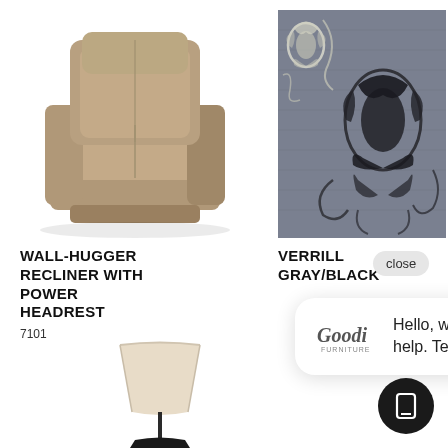[Figure (photo): Tan/taupe leather wall-hugger recliner chair with power headrest on white background]
[Figure (photo): Verrill gray and black area rug with ornate floral/damask pattern]
WALL-HUGGER RECLINER WITH POWER HEADREST
7101
VERRILL GRAY/BLACK
close
Hello, we're ready to help. Text us here!
[Figure (photo): Table lamp with cream shade and dark metal base, partially visible at bottom of page]
[Figure (illustration): Dark circular chat/message icon button in bottom right corner]